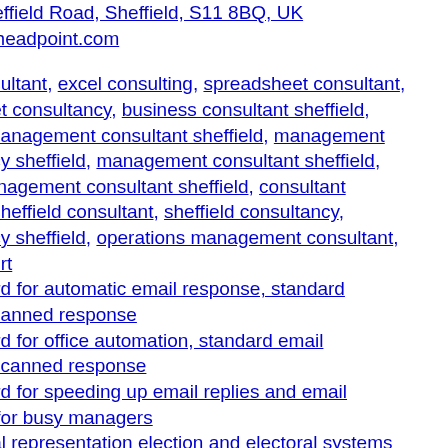Shelfield Road, Sheffield, S11 8BQ, UK
t@headpoint.com
onsultant, excel consulting, spreadsheet consultant, heet consultancy, business consultant sheffield, s management consultant sheffield, management ancy sheffield, management consultant sheffield, management consultant sheffield, consultant d, sheffield consultant, sheffield consultancy, ancy sheffield, operations management consultant, xpert
izard for automatic email response, standard e, canned response
izard for office automation, standard email es, canned response
izard for speeding up email replies and email es for busy managers
onal representation election and electoral systems
rgery services by Jon Coe in sheffield and peak
uning and branch removal services in the Sheffield
rgery services by Sheffield tree surgeon for crown on, crown thinning and crown lifting
rgeon services for Peak District for tree pruning and ng